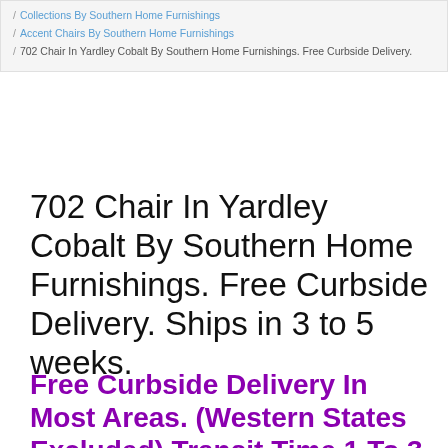/ Collections By Southern Home Furnishings / Accent Chairs By Southern Home Furnishings / 702 Chair In Yardley Cobalt By Southern Home Furnishings. Free Curbside Delivery.
702 Chair In Yardley Cobalt By Southern Home Furnishings. Free Curbside Delivery. Ships in 3 to 5 weeks.
Free Curbside Delivery In Most Areas. (Western States Excluded).Transit Time 1 To 3 Weeks..(See Delivery Options Below).
Inside Delivery. [RECOMMENDED] (No Assembly) $125.00 Freight